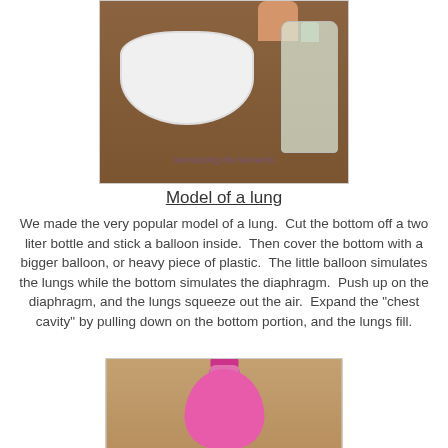[Figure (photo): Photo of a white bowl on a wooden table with a clear plastic hose/tubing coiled inside, a clear plastic bottle to the right, and a child's hand visible at top holding something. Watermark reads 'Memorizing the Moments'.]
Model of a lung
We made the very popular model of a lung.  Cut the bottom off a two liter bottle and stick a balloon inside.  Then cover the bottom with a bigger balloon, or heavy piece of plastic.  The little balloon simulates the lungs while the bottom simulates the diaphragm.  Push up on the diaphragm, and the lungs squeeze out the air.  Expand the "chest cavity" by pulling down on the bottom portion, and the lungs fill.
[Figure (photo): Photo of a pink balloon-covered plastic bottle with a blue band/ring near the neck and a pink/magenta cap, sitting on a light tan surface.]